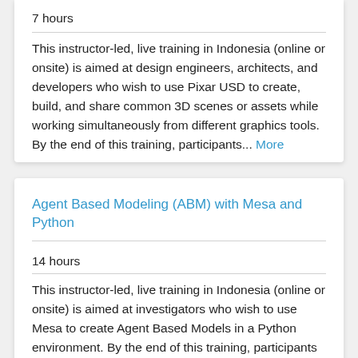7 hours
This instructor-led, live training in Indonesia (online or onsite) is aimed at design engineers, architects, and developers who wish to use Pixar USD to create, build, and share common 3D scenes or assets while working simultaneously from different graphics tools. By the end of this training, participants... More
Agent Based Modeling (ABM) with Mesa and Python
14 hours
This instructor-led, live training in Indonesia (online or onsite) is aimed at investigators who wish to use Mesa to create Agent Based Models in a Python environment. By the end of this training, participants will be able to: